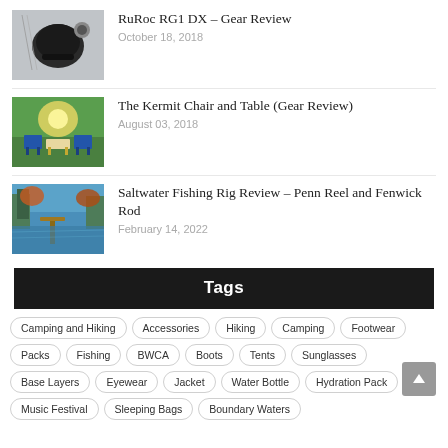[Figure (photo): Black and white photo of a helmet/gear item]
RuRoc RG1 DX – Gear Review
October 18, 2018
[Figure (photo): Outdoor chairs and table on grass in sunlight]
The Kermit Chair and Table (Gear Review)
August 03, 2018
[Figure (photo): River or lake scene with trees and dock]
Saltwater Fishing Rig Review – Penn Reel and Fenwick Rod
February 14, 2022
Tags
Camping and Hiking
Accessories
Hiking
Camping
Footwear
Packs
Fishing
BWCA
Boots
Tents
Sunglasses
Base Layers
Eyewear
Jacket
Water Bottle
Hydration Pack
Music Festival
Sleeping Bags
Boundary Waters